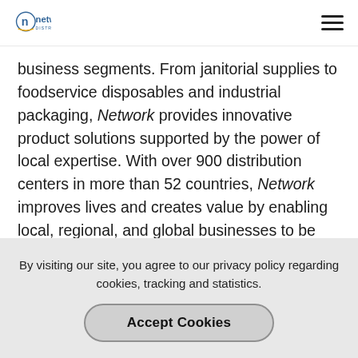network distribution
business segments. From janitorial supplies to foodservice disposables and industrial packaging, Network provides innovative product solutions supported by the power of local expertise. With over 900 distribution centers in more than 52 countries, Network improves lives and creates value by enabling local, regional, and global businesses to be their best.  For more information visit networkdistribution.com.
By visiting our site, you agree to our privacy policy regarding cookies, tracking and statistics.
Accept Cookies